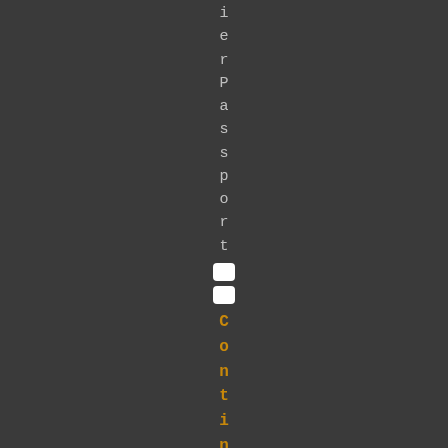ierPassport:
[Figure (illustration): Two small white rounded rectangles stacked vertically, resembling UI icons or checkboxes]
Continuer